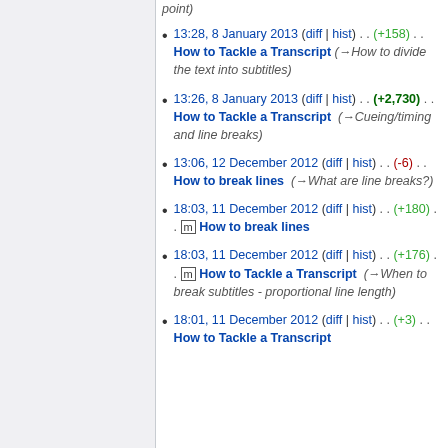point)
13:28, 8 January 2013 (diff | hist) . . (+158) . . How to Tackle a Transcript (→How to divide the text into subtitles)
13:26, 8 January 2013 (diff | hist) . . (+2,730) . . How to Tackle a Transcript (→Cueing/timing and line breaks)
13:06, 12 December 2012 (diff | hist) . . (-6) . . How to break lines (→What are line breaks?)
18:03, 11 December 2012 (diff | hist) . . (+180) . . m How to break lines
18:03, 11 December 2012 (diff | hist) . . (+176) . . m How to Tackle a Transcript (→When to break subtitles - proportional line length)
18:01, 11 December 2012 (diff | hist) . . (+3) . . How to Tackle a Transcript